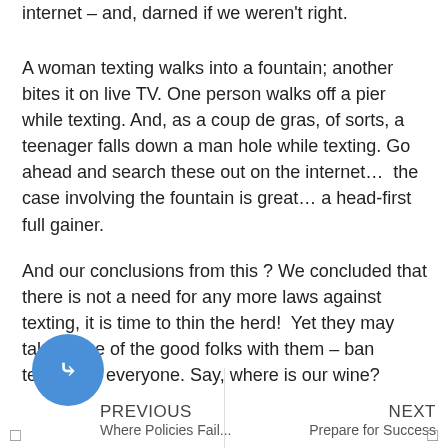internet – and, darned if we weren't right.
A woman texting walks into a fountain; another bites it on live TV. One person walks off a pier while texting. And, as a coup de gras, of sorts, a teenager falls down a man hole while texting. Go ahead and search these out on the internet…  the case involving the fountain is great… a head-first full gainer.
And our conclusions from this ? We concluded that there is not a need for any more laws against texting, it is time to thin the herd!  Yet they may take some of the good folks with them – ban texting for everyone. Say, where is our wine?
PREVIOUS | Where Policies Fail...    NEXT | Prepare for Success